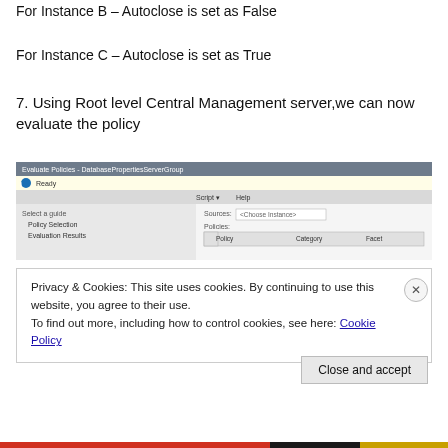For Instance B – Autoclose is set as False
For Instance C – Autoclose is set as True
7. Using Root level Central Management server,we can now evaluate the policy
[Figure (screenshot): Screenshot of Evaluate Policies - DatabasePropertiesServerGroup dialog window showing Ready status, Select a guide panel with Policy Selection and Evaluation Results, and a table with columns Policy, Category, Facet]
Privacy & Cookies: This site uses cookies. By continuing to use this website, you agree to their use.
To find out more, including how to control cookies, see here: Cookie Policy
Close and accept